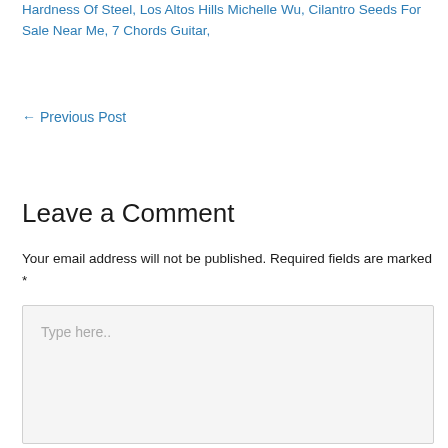Hardness Of Steel, Los Altos Hills Michelle Wu, Cilantro Seeds For Sale Near Me, 7 Chords Guitar,
← Previous Post
Leave a Comment
Your email address will not be published. Required fields are marked *
Type here..